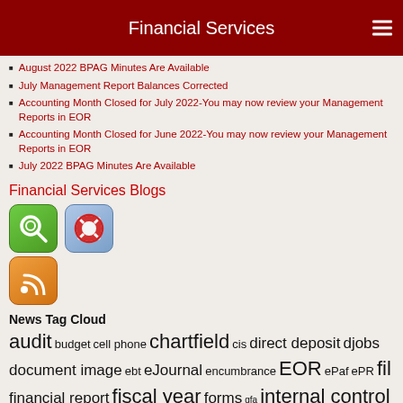Financial Services
August 2022 BPAG Minutes Are Available
July Management Report Balances Corrected
Accounting Month Closed for July 2022-You may now review your Management Reports in EOR
Accounting Month Closed for June 2022-You may now review your Management Reports in EOR
July 2022 BPAG Minutes Are Available
Financial Services Blogs
[Figure (illustration): Three app icons: green search magnifier icon, blue/red life preserver help icon, orange RSS feed icon]
News Tag Cloud
audit budget cell phone chartfield cis direct deposit djobs document image ebt eJournal encumbrance EOR ePaf ePR fil financial report fiscal year forms gfa internal control management report momentum